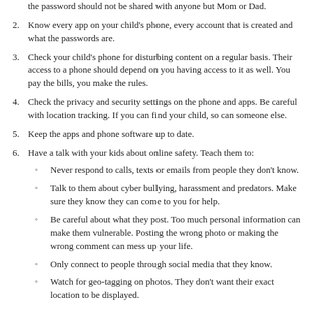the password should not be shared with anyone but Mom or Dad.
2. Know every app on your child's phone, every account that is created and what the passwords are.
3. Check your child's phone for disturbing content on a regular basis. Their access to a phone should depend on you having access to it as well. You pay the bills, you make the rules.
4. Check the privacy and security settings on the phone and apps. Be careful with location tracking. If you can find your child, so can someone else.
5. Keep the apps and phone software up to date.
6. Have a talk with your kids about online safety. Teach them to: Never respond to calls, texts or emails from people they don't know. Talk to them about cyber bullying, harassment and predators. Make sure they know they can come to you for help. Be careful about what they post. Too much personal information can make them vulnerable. Posting the wrong photo or making the wrong comment can mess up your life. Only connect to people through social media that they know. Watch for geo-tagging on photos. They don't want their exact location to be displayed.
Even if you don't follow all these guidelines, having a frank and honest